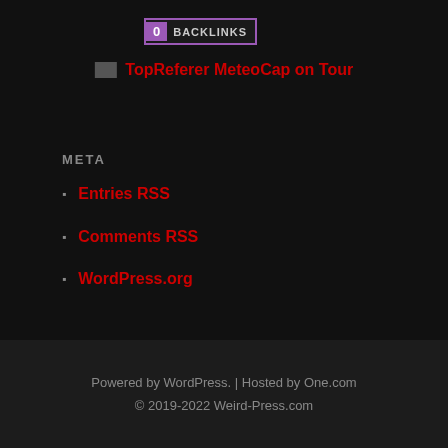[Figure (logo): Backlinks badge showing 0 backlinks with purple square and dark background]
TopReferer MeteoCap on Tour
META
Entries RSS
Comments RSS
WordPress.org
[Figure (illustration): Gold coin/seal badge showing 'WEBSITE WORTH $83' with decorative gear-like border]
Powered by WordPress. | Hosted by One.com
© 2019-2022 Weird-Press.com